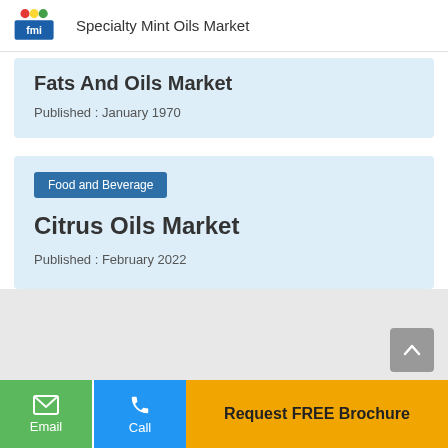Specialty Mint Oils Market
Fats And Oils Market
Published : January 1970
Food and Beverage
Citrus Oils Market
Published : February 2022
Request FREE Brochure